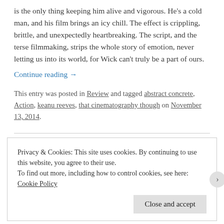is the only thing keeping him alive and vigorous. He's a cold man, and his film brings an icy chill. The effect is crippling, brittle, and unexpectedly heartbreaking. The script, and the terse filmmaking, strips the whole story of emotion, never letting us into its world, for Wick can't truly be a part of ours.
Continue reading →
This entry was posted in Review and tagged abstract concrete, Action, keanu reeves, that cinematography though on November 13, 2014.
Privacy & Cookies: This site uses cookies. By continuing to use this website, you agree to their use.
To find out more, including how to control cookies, see here: Cookie Policy